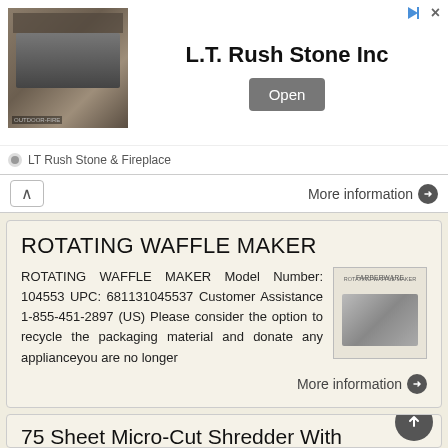[Figure (screenshot): Advertisement banner for L.T. Rush Stone Inc showing a fireplace with stone wall, company name, and Open button]
More information →
ROTATING WAFFLE MAKER
ROTATING WAFFLE MAKER Model Number: 104553 UPC: 681131045537 Customer Assistance 1-855-451-2897 (US) Please consider the option to recycle the packaging material and donate any applianceyou are no longer
More information →
75 Sheet Micro-Cut Shredder With CD/DVD Slot
75 Sheet Micro-Cut Shredder With CD/DVD Slot Model #:PS8500MXW User s Manual